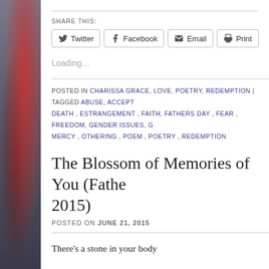[Figure (photo): Partial view of a decorative or artistic image on the left margin, showing red and dark tones, partially cropped birds or abstract shapes against a blue-grey background.]
SHARE THIS:
Twitter | Facebook | Email | Print
Loading...
POSTED IN CHARISSA GRACE, LOVE, POETRY, REDEMPTION | TAGGED ABUSE, ACCEPT... DEATH, ESTRANGEMENT, FAITH, FATHERS DAY, FEAR, FREEDOM, GENDER ISSUES, G... MERCY, OTHERING, POEM, POETRY, REDEMPTION
The Blossom of Memories of You (Fathe... 2015)
POSTED ON JUNE 21, 2015
There’s a stone in your body